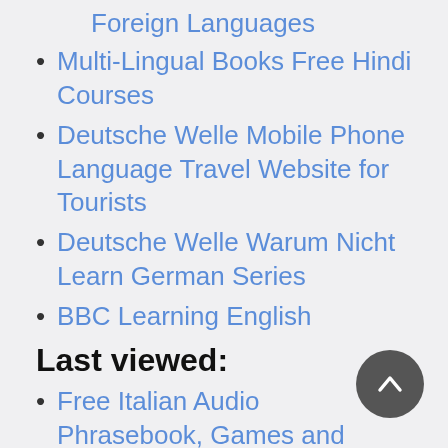Foreign Languages
Multi-Lingual Books Free Hindi Courses
Deutsche Welle Mobile Phone Language Travel Website for Tourists
Deutsche Welle Warum Nicht Learn German Series
BBC Learning English
Travel Phrasebooks
Learn a Language
The French École French for Beginners Podcast
Last viewed:
Free Italian Audio Phrasebook, Games and